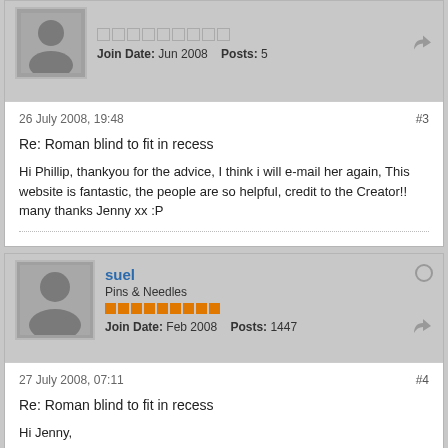Join Date: Jun 2008   Posts: 5
26 July 2008, 19:48
#3
Re: Roman blind to fit in recess
Hi Phillip, thankyou for the advice, I think i will e-mail her again, This website is fantastic, the people are so helpful, credit to the Creator!! many thanks Jenny xx :P
suel
Pins & Needles
Join Date: Feb 2008   Posts: 1447
27 July 2008, 07:11
#4
Re: Roman blind to fit in recess
Hi Jenny,
Philip is right get the client to confirm their measurements. FYI I normally make a Roman Blind to fit inside a recess 2cm less than the